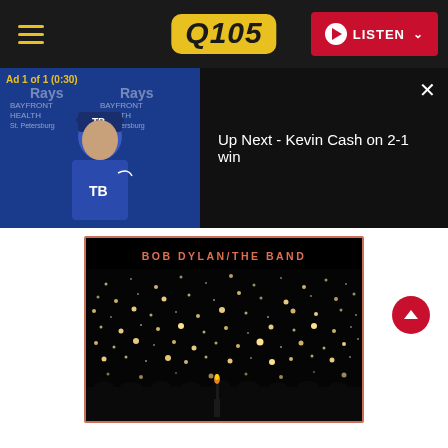Q105 — LISTEN
[Figure (screenshot): Video player showing a Tampa Bay Rays press conference with ad overlay. Ad label reads 'Ad 1 of 1 (0:30)'. Right side shows dark panel with text 'Up Next - Kevin Cash on 2-1 win' and a close button (×).]
Up Next - Kevin Cash on 2-1 win
[Figure (photo): Album art for Bob Dylan / The Band. Dark background with scattered audience lights/lighters glowing in the dark. Salmon/coral border frame. Text at top reads 'BOB DYLAN/THE BAND' in orange-coral bold letters.]